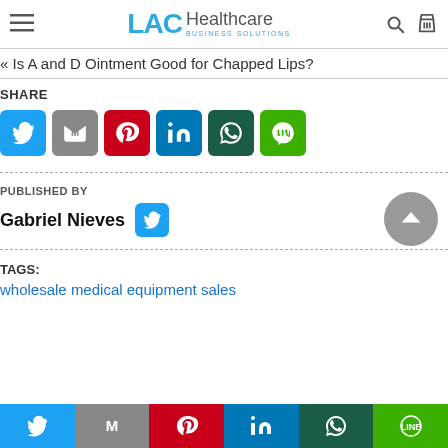LAC Healthcare Business Solutions
« Is A and D Ointment Good for Chapped Lips?
SHARE
[Figure (infographic): Six social share buttons: Twitter (blue), Gmail (gray), Pinterest (red), LinkedIn (blue), WhatsApp (dark green), Line (green)]
PUBLISHED BY
Gabriel Nieves
TAGS:
wholesale medical equipment sales
[Figure (infographic): Bottom share bar with six social media icons: Twitter, Gmail, Pinterest, LinkedIn, WhatsApp, Line]